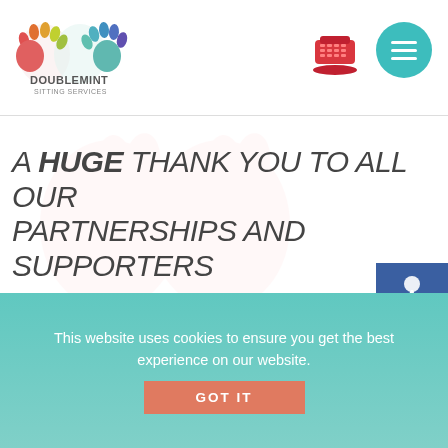[Figure (logo): Doublemint Sitting Services logo with two colorful hand prints and text 'DOUBLEMINT SITTING SERVICES']
[Figure (illustration): Red telephone icon in header]
[Figure (illustration): Teal circular hamburger menu icon with three white lines]
A HUGE THANK YOU TO ALL OUR PARTNERSHIPS AND SUPPORTERS
[Figure (illustration): Blue accessibility wheelchair symbol on dark blue square background]
[Figure (illustration): GiGi's colorful logo with rainbow-colored lettering]
[Figure (illustration): Dark blue arts and creativity icon cluster: pencil, paintbrush, music notes, triangle/compass, lightbulb]
This website uses cookies to ensure you get the best experience on our website.
GOT IT